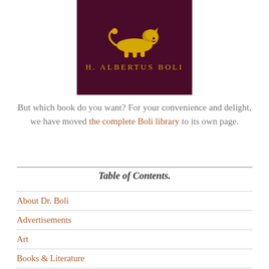[Figure (logo): Dark maroon square logo with a golden lion illustration above the text H. ALBERTUS BOLI in gold letters]
But which book do you want? For your convenience and delight, we have moved the complete Boli library to its own page.
Table of Contents.
About Dr. Boli
Advertisements
Art
Books & Literature
General Knowledge